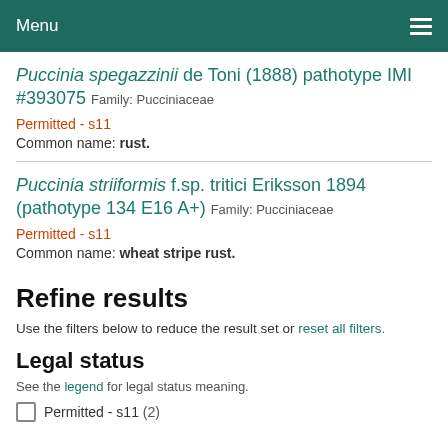Menu
Puccinia spegazzinii de Toni (1888) pathotype IMI #393075 Family: Pucciniaceae
Permitted - s11
Common name: rust.
Puccinia striiformis f.sp. tritici Eriksson 1894 (pathotype 134 E16 A+) Family: Pucciniaceae
Permitted - s11
Common name: wheat stripe rust.
Refine results
Use the filters below to reduce the result set or reset all filters.
Legal status
See the legend for legal status meaning.
Permitted - s11 (2)